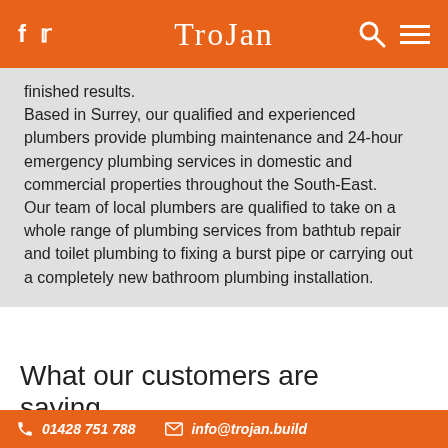TroJan
finished results.
Based in Surrey, our qualified and experienced plumbers provide plumbing maintenance and 24-hour emergency plumbing services in domestic and commercial properties throughout the South-East.
Our team of local plumbers are qualified to take on a whole range of plumbing services from bathtub repair and toilet plumbing to fixing a burst pipe or carrying out a completely new bathroom plumbing installation.
What our customers are saying...
01428 751 788   info@trojan.build